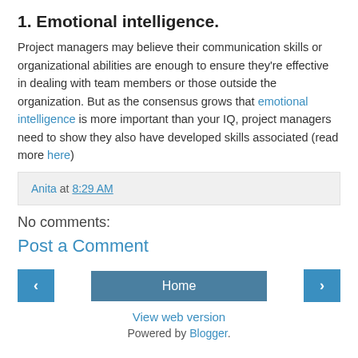1. Emotional intelligence.
Project managers may believe their communication skills or organizational abilities are enough to ensure they’re effective in dealing with team members or those outside the organization. But as the consensus grows that emotional intelligence is more important than your IQ, project managers need to show they also have developed skills associated (read more here)
Anita at 8:29 AM
No comments:
Post a Comment
Home
View web version
Powered by Blogger.